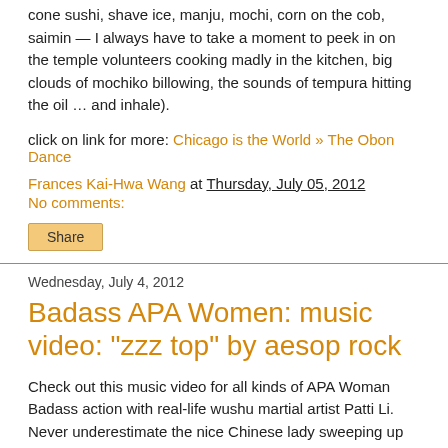cone sushi, shave ice, manju, mochi, corn on the cob, saimin — I always have to take a moment to peek in on the temple volunteers cooking madly in the kitchen, big clouds of mochiko billowing, the sounds of tempura hitting the oil … and inhale).
click on link for more: Chicago is the World » The Obon Dance
Frances Kai-Hwa Wang at Thursday, July 05, 2012
No comments:
Share
Wednesday, July 4, 2012
Badass APA Women: music video: "zzz top" by aesop rock
Check out this music video for all kinds of APA Woman Badass action with real-life wushu martial artist Patti Li. Never underestimate the nice Chinese lady sweeping up the room.
Now time to go practice my sword.